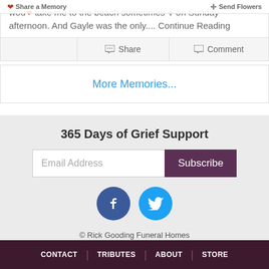Share a Memory | Send Flowers
wou... take me to the beach sometimes on Sunday afternoon. And Gayle was the only.... Continue Reading
Share | Comment
More Memories...
365 Days of Grief Support
Email Address  Subscribe
[Figure (logo): Facebook and Twitter social media icon circles]
© Rick Gooding Funeral Homes
Website Designed by funeralOne
CONTACT | TRIBUTES | ABOUT | STORE